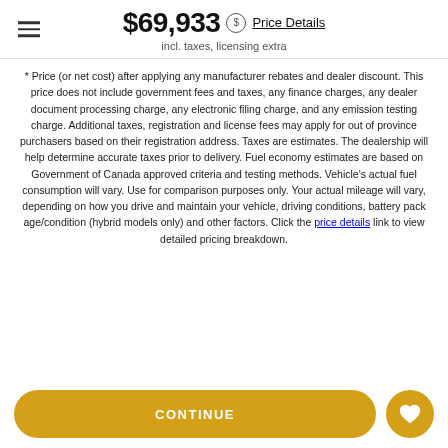$69,933 incl. taxes, licensing extra Price Details
* Price (or net cost) after applying any manufacturer rebates and dealer discount. This price does not include government fees and taxes, any finance charges, any dealer document processing charge, any electronic filing charge, and any emission testing charge. Additional taxes, registration and license fees may apply for out of province purchasers based on their registration address. Taxes are estimates. The dealership will help determine accurate taxes prior to delivery. Fuel economy estimates are based on Government of Canada approved criteria and testing methods. Vehicle's actual fuel consumption will vary. Use for comparison purposes only. Your actual mileage will vary, depending on how you drive and maintain your vehicle, driving conditions, battery pack age/condition (hybrid models only) and other factors. Click the price details link to view detailed pricing breakdown.
CONTINUE